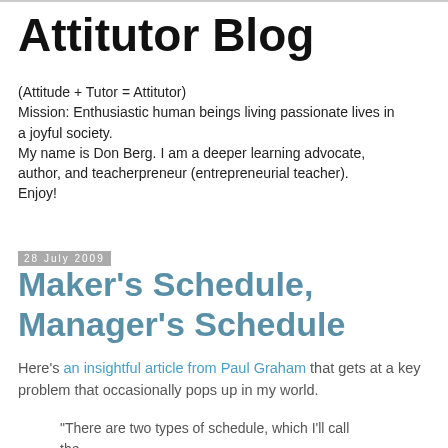Attitutor Blog
(Attitude + Tutor = Attitutor)
Mission: Enthusiastic human beings living passionate lives in a joyful society.
My name is Don Berg. I am a deeper learning advocate, author, and teacherpreneur (entrepreneurial teacher). Enjoy!
28 July 2009
Maker's Schedule, Manager's Schedule
Here's an insightful article from Paul Graham that gets at a key problem that occasionally pops up in my world.
"There are two types of schedule, which I'll call the..."